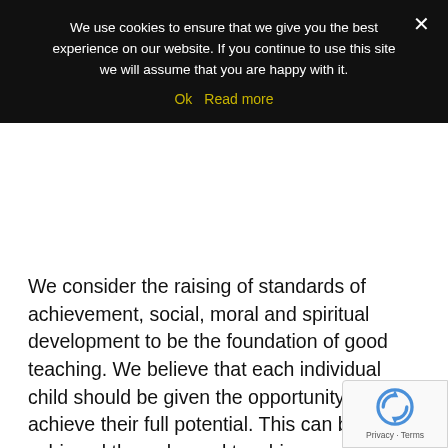We use cookies to ensure that we give you the best experience on our website. If you continue to use this site we will assume that you are happy with it.
Ok   Read more
We consider the raising of standards of achievement, social, moral and spiritual development to be the foundation of good teaching. We believe that each individual child should be given the opportunity to achieve their full potential. This can be achieved through good teaching practice and planned learning, targeted at the children's needs. All staff take responsibility for raising standards in basic skills. We value every member of our learning community; governors, parents, staff and the children who attend the school.
We acknowledge that children come to school with different knowledge and from different social and cultural